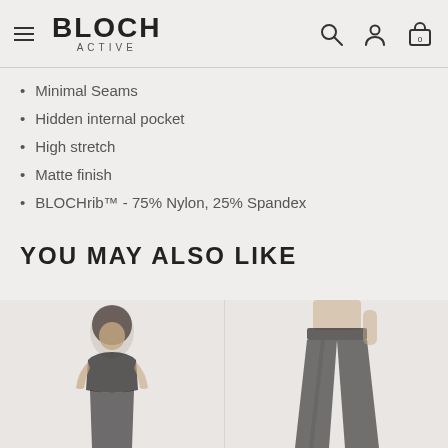BLOCH ACTIVE
Minimal Seams
Hidden internal pocket
High stretch
Matte finish
BLOCHrib™ - 75% Nylon, 25% Spandex
YOU MAY ALSO LIKE
[Figure (photo): Two product photos side by side: left shows a woman in dark activewear crop top, right shows dark wide-leg pants on a model, both on light grey background]